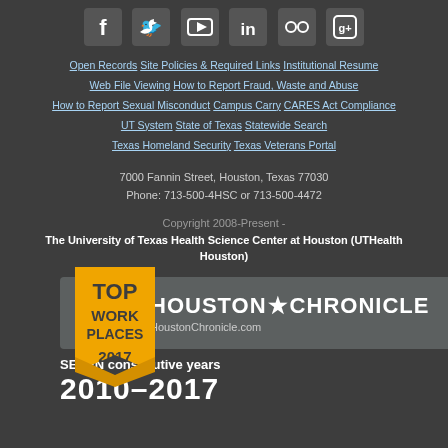[Figure (other): Social media icons row: Facebook, Twitter, YouTube, LinkedIn, Flickr, Google+]
Open Records Site Policies & Required Links Institutional Resume Web File Viewing How to Report Fraud, Waste and Abuse How to Report Sexual Misconduct Campus Carry CARES Act Compliance UT System State of Texas Statewide Search Texas Homeland Security Texas Veterans Portal
7000 Fannin Street, Houston, Texas 77030
Phone: 713-500-4HSC or 713-500-4472
Copyright 2008-Present -
The University of Texas Health Science Center at Houston (UTHealth Houston)
[Figure (logo): Top Work Places 2017 badge with Houston Chronicle logo. Text: TOP WORK PLACES 2017, HOUSTON CHRONICLE, HoustonChronicle.com]
SEVEN consecutive years
2010–2017